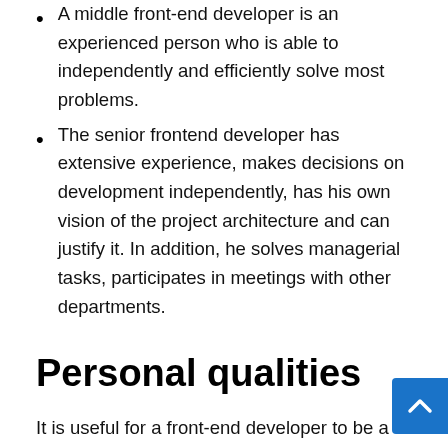A middle front-end developer is an experienced person who is able to independently and efficiently solve most problems.
The senior frontend developer has extensive experience, makes decisions on development independently, has his own vision of the project architecture and can justify it. In addition, he solves managerial tasks, participates in meetings with other departments.
Personal qualities
It is useful for a front-end developer to be a perfectionist, as it is often necessary to implement the designer's intention “pixel by pixel”. In front-end development, you can’t stand still, it’s like running up an escalator that goes down: new tools are constantly appearing and trends are changing. It’s interesting,